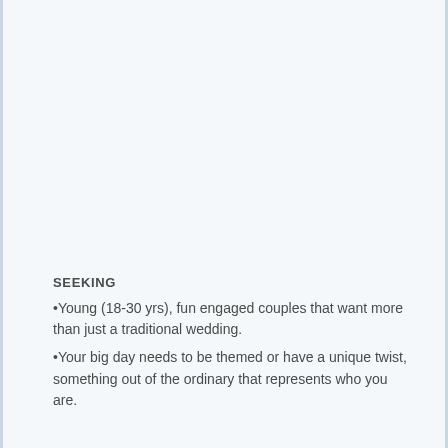SEEKING
•Young (18-30 yrs), fun engaged couples that want more than just a traditional wedding.
•Your big day needs to be themed or have a unique twist, something out of the ordinary that represents who you are.